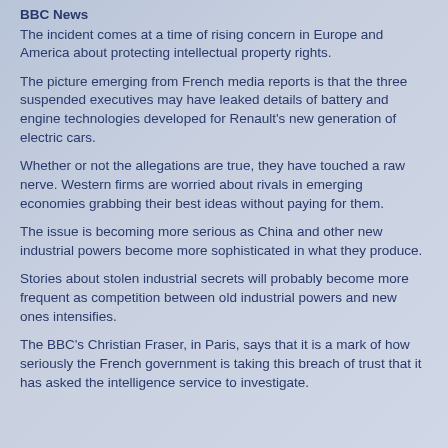BBC News
The incident comes at a time of rising concern in Europe and America about protecting intellectual property rights.
The picture emerging from French media reports is that the three suspended executives may have leaked details of battery and engine technologies developed for Renault's new generation of electric cars.
Whether or not the allegations are true, they have touched a raw nerve. Western firms are worried about rivals in emerging economies grabbing their best ideas without paying for them.
The issue is becoming more serious as China and other new industrial powers become more sophisticated in what they produce.
Stories about stolen industrial secrets will probably become more frequent as competition between old industrial powers and new ones intensifies.
The BBC's Christian Fraser, in Paris, says that it is a mark of how seriously the French government is taking this breach of trust that it has asked the intelligence service to investigate.